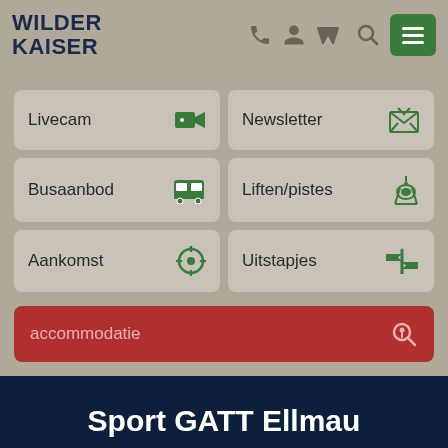WILDER KAISER
[Figure (screenshot): Navigation menu with 6 buttons: Livecam, Newsletter, Busaanbod, Liften/pistes, Aankomst, Uitstapjes, and a red search bar with 'accommodatie' placeholder]
Sport GATT Ellmau